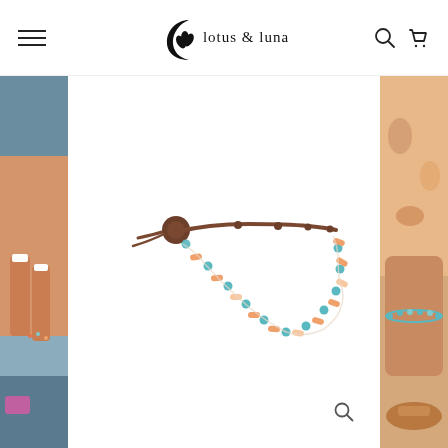[Figure (logo): Lotus and Luna brand logo — crescent moon with lotus flower icon and text 'lotus & luna' in serif font]
[Figure (photo): Close-up of feet wearing beaded anklet on sandy/tiled surface — left side panel]
[Figure (photo): Product photo of a beaded anklet/bracelet with orange, white, and teal/blue beads on a brown leather cord with a circular button closure, on white background]
[Figure (photo): Close-up lifestyle photo of leg/ankle wearing teal/blue beaded bracelet with fabric — right side panel]